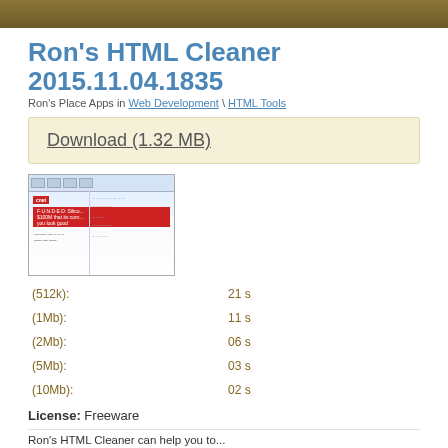Ron's HTML Cleaner 2015.11.04.1835
Ron's Place Apps in Web Development \ HTML Tools
Download (1.32 MB)
[Figure (screenshot): Screenshot of Ron's HTML Cleaner application showing the interface with toolbar and HTML content with an embedded ad banner]
| Speed | Time |
| --- | --- |
| (512k): | 21 s |
| (1Mb): | 11 s |
| (2Mb): | 06 s |
| (5Mb): | 03 s |
| (10Mb): | 02 s |
License: Freeware
Ron's HTML Cleaner can help you to...